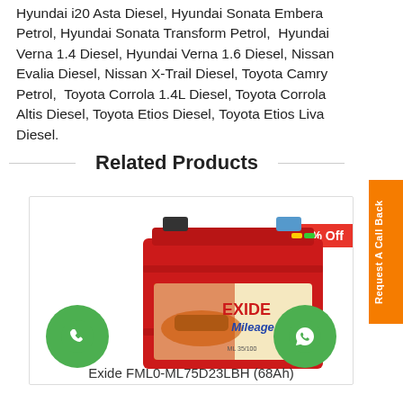Hyundai i20 Asta Diesel, Hyundai Sonata Embera Petrol, Hyundai Sonata Transform Petrol, Hyundai Verna 1.4 Diesel, Hyundai Verna 1.6 Diesel, Nissan Evalia Diesel, Nissan X-Trail Diesel, Toyota Camry Petrol, Toyota Corrola 1.4L Diesel, Toyota Corrola Altis Diesel, Toyota Etios Diesel, Toyota Etios Liva Diesel.
Related Products
[Figure (photo): Exide Mileage car battery (red) with EXIDE Mileage label, shown with a 24% Off discount badge, phone call button (green circle), and WhatsApp button (green circle)]
Exide FML0-ML75D23LBH (68Ah)